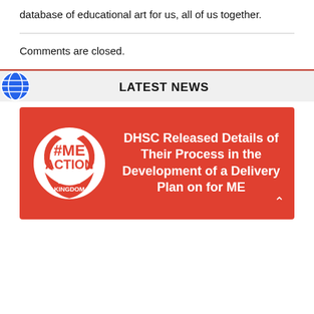database of educational art for us, all of us together.
Comments are closed.
LATEST NEWS
[Figure (illustration): #ME ACTION UNITED KINGDOM logo — white circle with red soccer ball segments and text on red background card, with headline: DHSC Released Details of Their Process in the Development of a Delivery Plan on for ME]